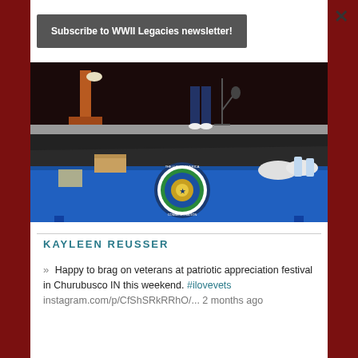×
Subscribe to WWII Legacies newsletter!
[Figure (photo): A blue tablecloth-covered table with text 'www.VIETNAMWAR50TH.com' and a commemorative logo. In the background is a stage with a person standing at a microphone.]
KAYLEEN REUSSER
» Happy to brag on veterans at patriotic appreciation festival in Churubusco IN this weekend. #ilovevets instagram.com/p/CfShSRkRRhO/... 2 months ago